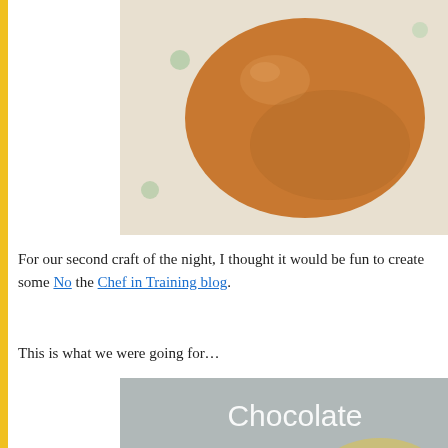[Figure (photo): Close-up photo of a brown egg on a light patterned surface]
For our second craft of the night, I thought it would be fun to create some No-[continues] the Chef in Training blog.
This is what we were going for…
[Figure (photo): Recipe image with text overlay reading 'Chocolate Egg Nest Cookies' on a blurred background with a hand holding a yellow candy egg]